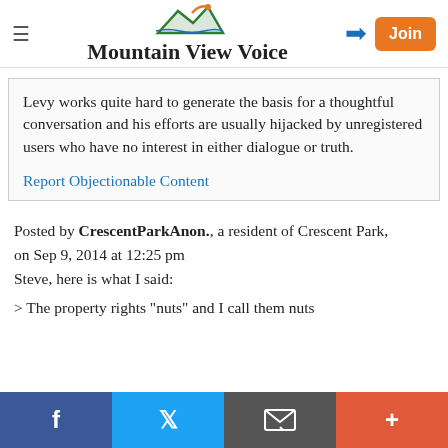Mountain View Voice
Levy works quite hard to generate the basis for a thoughtful conversation and his efforts are usually hijacked by unregistered users who have no interest in either dialogue or truth.
Report Objectionable Content
Posted by CrescentParkAnon., a resident of Crescent Park,
on Sep 9, 2014 at 12:25 pm
Steve, here is what I said:
> The property rights "nuts" and I call them nuts